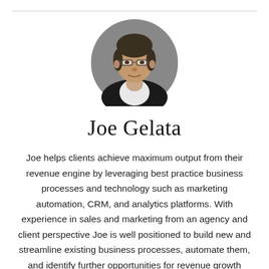[Figure (photo): Circular headshot photo of Joe Gelata, a man wearing glasses and a dark blazer with white shirt, grey background]
Joe Gelata
Joe helps clients achieve maximum output from their revenue engine by leveraging best practice business processes and technology such as marketing automation, CRM, and analytics platforms. With experience in sales and marketing from an agency and client perspective Joe is well positioned to build new and streamline existing business processes, automate them, and identify further opportunities for revenue growth